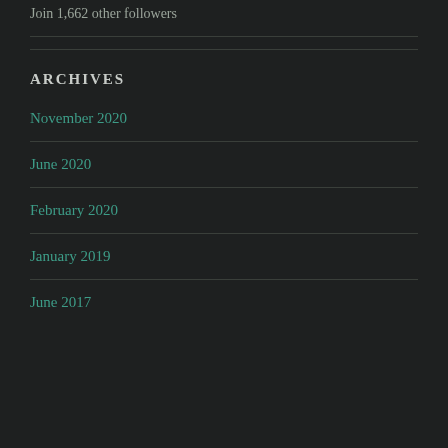Join 1,662 other followers
ARCHIVES
November 2020
June 2020
February 2020
January 2019
June 2017